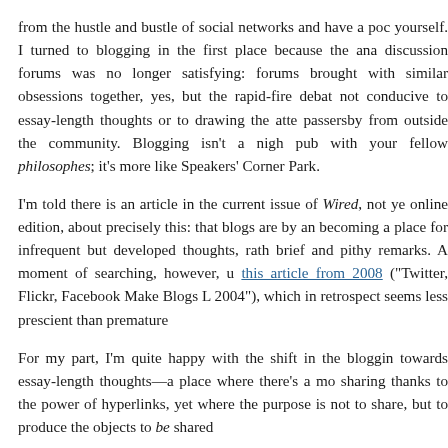from the hustle and bustle of social networks and have a pod yourself. I turned to blogging in the first place because the ana discussion forums was no longer satisfying: forums brought with similar obsessions together, yes, but the rapid-fire debat not conducive to essay-length thoughts or to drawing the atte passersby from outside the community. Blogging isn't a nigh pub with your fellow philosophes; it's more like Speakers' Corner Park.
I'm told there is an article in the current issue of Wired, not ye online edition, about precisely this: that blogs are by an becoming a place for infrequent but developed thoughts, rath brief and pithy remarks. A moment of searching, however, u this article from 2008 ("Twitter, Flickr, Facebook Make Blogs L 2004"), which in retrospect seems less prescient than premature
For my part, I'm quite happy with the shift in the bloggin towards essay-length thoughts—a place where there's a mo sharing thanks to the power of hyperlinks, yet where the purpose is not to share, but to produce the objects to be shared